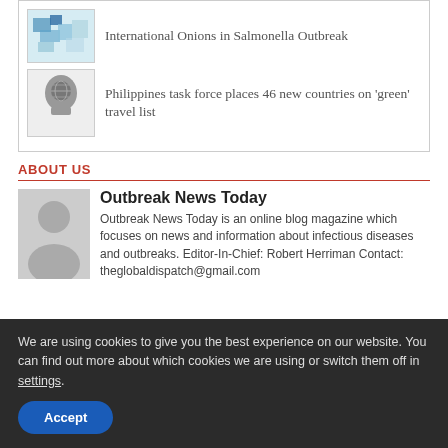[Figure (other): Thumbnail image of a map with color regions, related to Salmonella outbreak]
International Onions in Salmonella Outbreak
[Figure (illustration): Thumbnail image of a human head silhouette with a globe graphic inside]
Philippines task force places 46 new countries on ‘green’ travel list
ABOUT US
[Figure (illustration): Gray avatar silhouette placeholder image]
Outbreak News Today
Outbreak News Today is an online blog magazine which focuses on news and information about infectious diseases and outbreaks. Editor-In-Chief: Robert Herriman Contact: theglobaldispatch@gmail.com
We are using cookies to give you the best experience on our website. You can find out more about which cookies we are using or switch them off in settings.
Accept